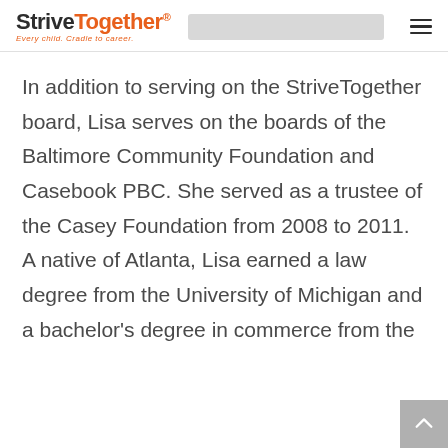StriveTogether® Every child. Cradle to career.
In addition to serving on the StriveTogether board, Lisa serves on the boards of the Baltimore Community Foundation and Casebook PBC. She served as a trustee of the Casey Foundation from 2008 to 2011. A native of Atlanta, Lisa earned a law degree from the University of Michigan and a bachelor's degree in commerce from the